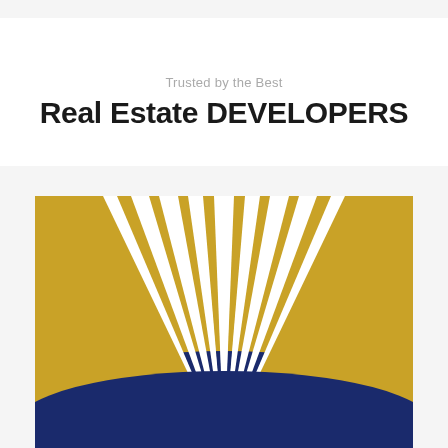Trusted by the Best
Real Estate DEVELOPERS
[Figure (logo): Golden sun-ray burst logo with white rays radiating from a central bottom point against a gold/yellow background, with a navy blue arc at the bottom. The design is split in the center creating a symmetrical sunburst pattern.]